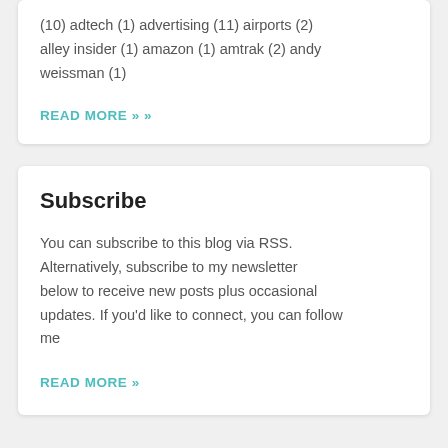(10) adtech (1) advertising (11) airports (2) alley insider (1) amazon (1) amtrak (2) andy weissman (1)
READ MORE »
Subscribe
You can subscribe to this blog via RSS. Alternatively, subscribe to my newsletter below to receive new posts plus occasional updates. If you'd like to connect, you can follow me
READ MORE »